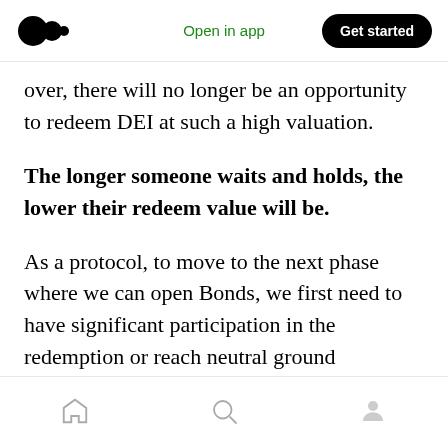Medium logo | Open in app | Get started
over, there will no longer be an opportunity to redeem DEI at such a high valuation.
The longer someone waits and holds, the lower their redeem value will be.
As a protocol, to move to the next phase where we can open Bonds, we first need to have significant participation in the redemption or reach neutral ground displayed in the graphic as yellow and green colors. Otherwise, Bonds will just kick the can down the road by pushing the problem into the future.
Home | Search | Profile